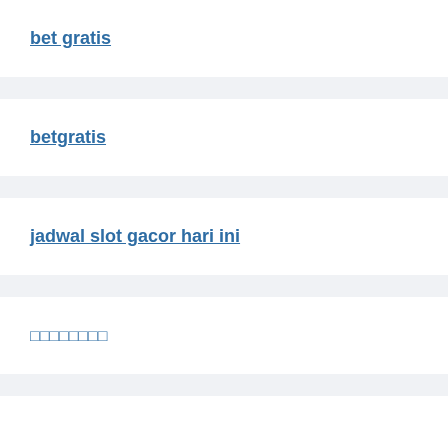bet gratis
betgratis
jadwal slot gacor hari ini
□□□□□□□□